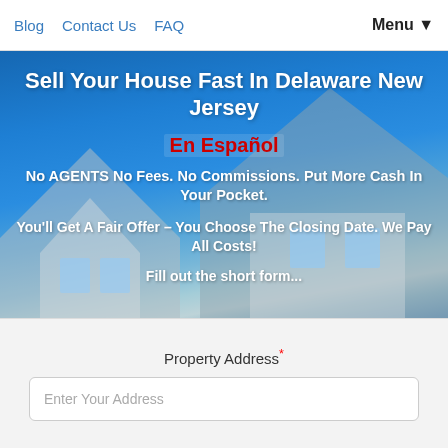Blog   Contact Us   FAQ   Menu ▼
Sell Your House Fast In Delaware New Jersey
En Español
No AGENTS No Fees. No Commissions. Put More Cash In Your Pocket.
You'll Get A Fair Offer – You Choose The Closing Date. We Pay All Costs!
Fill out the short form...
Property Address* — Enter Your Address